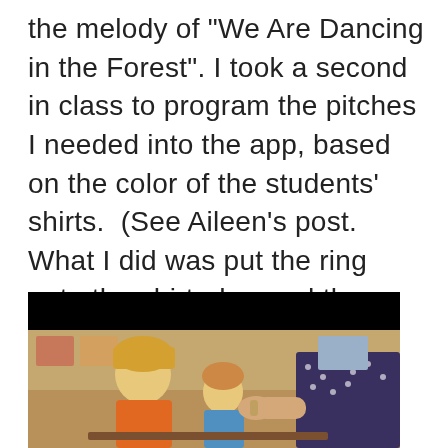the melody of "We Are Dancing in the Forest". I took a second in class to program the pitches I needed into the app, based on the color of the students' shirts.  (See Aileen's post. What I did was put the ring onto the shirt, dragged the color on the app to the pitch I needed and viola! The note was programed to play the pitch). Please forgive our excitement, we recorded this on a Friday... during the last 20 minutes of the day!
[Figure (photo): A classroom scene showing young children (one with blonde hair in orange shirt) with a teacher visible on the right wearing a patterned shirt, against a dark/black background at top.]